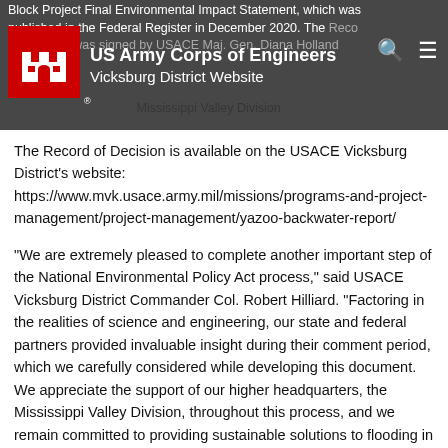Block Project Final Environmental Impact Statement, which was published in the Federal Register in December 2020. The Record of Decision was signed by USACE Maj. Gen. Diana Holland ... Mississippi Valley Division
US Army Corps of Engineers Vicksburg District Website
The Record of Decision is available on the USACE Vicksburg District's website: https://www.mvk.usace.army.mil/missions/programs-and-project-management/project-management/yazoo-backwater-report/
“We are extremely pleased to complete another important step of the National Environmental Policy Act process,” said USACE Vicksburg District Commander Col. Robert Hilliard. “Factoring in the realities of science and engineering, our state and federal partners provided invaluable insight during their comment period, which we carefully considered while developing this document. We appreciate the support of our higher headquarters, the Mississippi Valley Division, throughout this process, and we remain committed to providing sustainable solutions to flooding in the South Delta.”